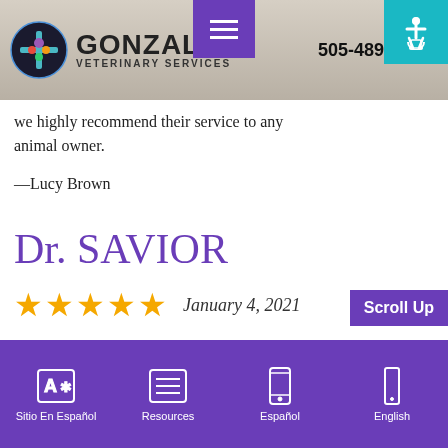GONZALES VETERINARY SERVICES | 505-489-0020
we highly recommend their service to any animal owner.
—Lucy Brown
Dr. SAVIOR
★★★★★  January 4, 2021
My poor Leo (yorkie) was in desperate n
Sitio En Español | Resources | Español | English